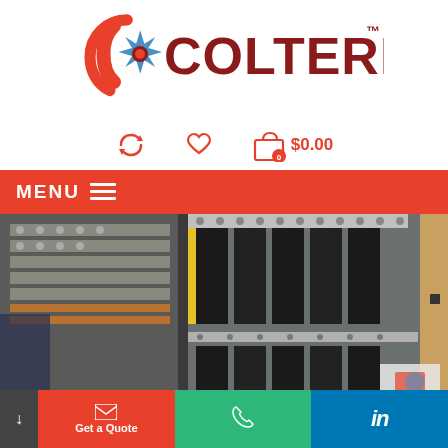[Figure (logo): Colterlec logo with red compass/gear icon and dark red bold text COLTERLEC with TM superscript]
[Figure (infographic): Icon bar showing refresh icon, heart icon, shopping bag icon with 0 badge, and $0.00 price in red]
MENU ≡
[Figure (photo): Photo of electrical switchgear or panel showing large black bus bars, yellow conduit, metal framework, and electrical components]
[Figure (infographic): Bottom navigation bar with: arrow/down button (dark), Get a Quote button (red) with envelope icon, phone button (green) with phone icon, LinkedIn button (blue) with 'in' icon]